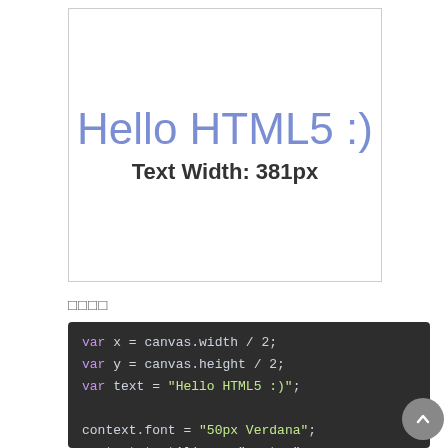[Figure (screenshot): White canvas box showing 'Hello HTML5 :)' in large blue/purple text and 'Text Width: 381px' below it in dark bold text]
□□□□
var x = canvas.width / 2;
var y = canvas.height / 2;
var text = "Hello HTML5 :)";

context.font = "50px Verdana";
context.textAlign = "center";